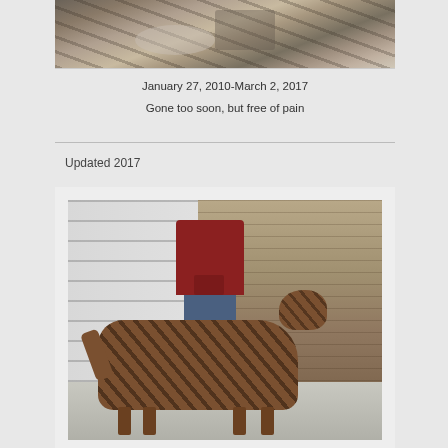[Figure (photo): Close-up photo of an animal's fur, appears to be a dog with gray/brindle coloring, top portion of the image]
January 27, 2010-March 2, 2017
Gone too soon, but free of pain
Updated  2017
[Figure (photo): Photo of a person in a dark red/maroon hoodie and jeans standing with a brindle-colored dog (appears to be a greyhound or similar breed) in front of a white siding wall and wooden fence]